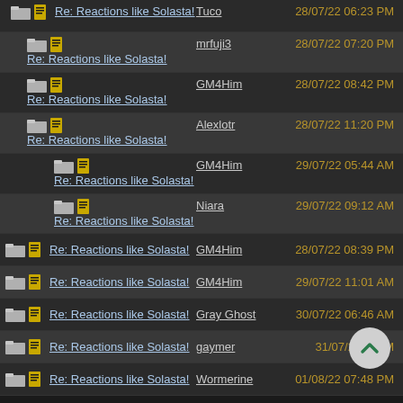Re: Reactions like Solasta! | Tuco | 28/07/22 06:23 PM
Re: Reactions like Solasta! | mrfuji3 | 28/07/22 07:20 PM
Re: Reactions like Solasta! | GM4Him | 28/07/22 08:42 PM
Re: Reactions like Solasta! | Alexlotr | 28/07/22 11:20 PM
Re: Reactions like Solasta! | GM4Him | 29/07/22 05:44 AM
Re: Reactions like Solasta! | Niara | 29/07/22 09:12 AM
Re: Reactions like Solasta! | GM4Him | 28/07/22 08:39 PM
Re: Reactions like Solasta! | GM4Him | 29/07/22 11:01 AM
Re: Reactions like Solasta! | Gray Ghost | 30/07/22 06:46 AM
Re: Reactions like Solasta! | gaymer | 31/07/22 … AM
Re: Reactions like Solasta! | Wormerine | 01/08/22 07:48 PM